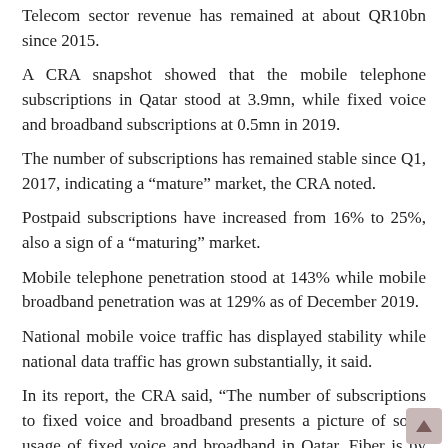Telecom sector revenue has remained at about QR10bn since 2015.
A CRA snapshot showed that the mobile telephone subscriptions in Qatar stood at 3.9mn, while fixed voice and broadband subscriptions at 0.5mn in 2019.
The number of subscriptions has remained stable since Q1, 2017, indicating a “mature” market, the CRA noted.
Postpaid subscriptions have increased from 16% to 25%, also a sign of a “maturing” market.
Mobile telephone penetration stood at 143% while mobile broadband penetration was at 129% as of December 2019.
National mobile voice traffic has displayed stability while national data traffic has grown substantially, it said.
In its report, the CRA said, “The number of subscriptions to fixed voice and broadband presents a picture of solid usage of fixed voice and broadband in Qatar. Fiber is by far the most popular technology for fixed broadband in Qatar.”